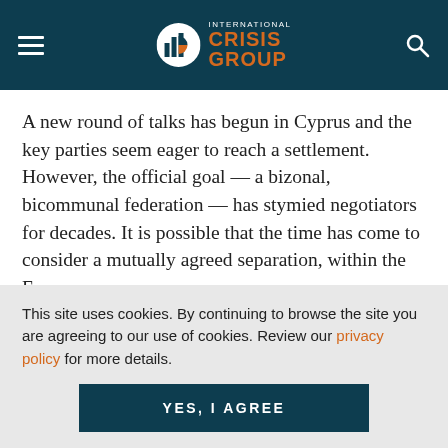[Figure (logo): International Crisis Group logo with bar chart icon and orange text on dark teal header background, with hamburger menu on left and search icon on right]
A new round of talks has begun in Cyprus and the key parties seem eager to reach a settlement. However, the official goal — a bizonal, bicommunal federation — has stymied negotiators for decades. It is possible that the time has come to consider a mutually agreed separation, within the European
This site uses cookies. By continuing to browse the site you are agreeing to our use of cookies. Review our privacy policy for more details.